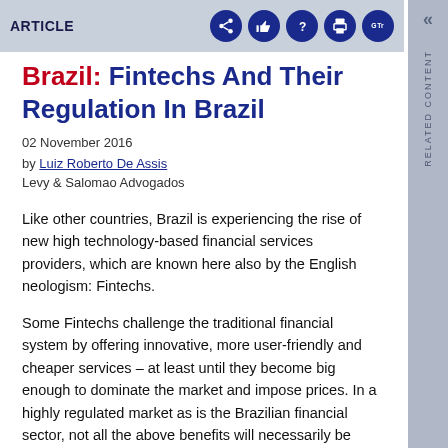ARTICLE
Brazil: Fintechs And Their Regulation In Brazil
02 November 2016
by Luiz Roberto De Assis
Levy & Salomao Advogados
Like other countries, Brazil is experiencing the rise of new high technology-based financial services providers, which are known here also by the English neologism: Fintechs.
Some Fintechs challenge the traditional financial system by offering innovative, more user-friendly and cheaper services – at least until they become big enough to dominate the market and impose prices. In a highly regulated market as is the Brazilian financial sector, not all the above benefits will necessarily be present; either